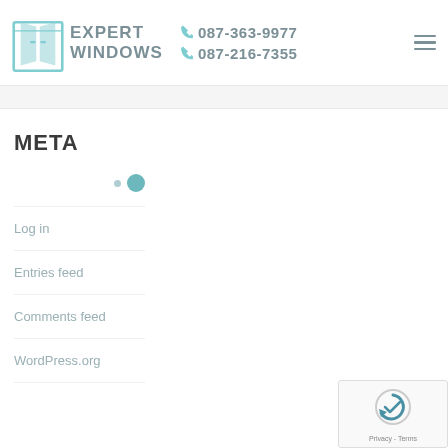[Figure (logo): Expert Windows logo with teal window icon and brand name, plus phone numbers 087-363-9977 and 087-216-7355]
META
Log in
Entries feed
Comments feed
WordPress.org
[Figure (other): reCAPTCHA widget with Privacy and Terms text]